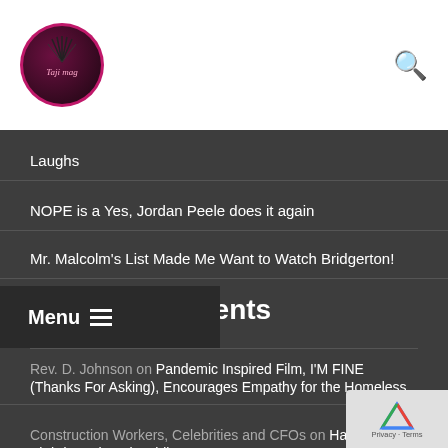Taji Mag [logo] [search icon]
Laughs
NOPE is a Yes, Jordan Peele does it again
Mr. Malcolm's List Made Me Want to Watch Bridgerton!
Recent Comments
Rev. D. Johnson on Pandemic Inspired Film, I'M FINE (Thanks For Asking), Encourages Empathy for the Homeless
Construction Workers, Celebrities and CFOs on Happy Birthday Whoopi Goldberg
Taji Mag on Contribute to Taji Mag
Isadora Bravo on Contribute to Taji Mag
Taji Mag on Contribute to Taji Mag